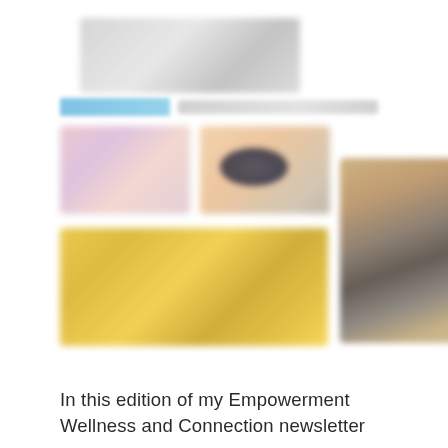[Figure (photo): A blurred collage of multiple images: a gray/white blurred image at top, a blue highlighted bar on the left with gray text, a pink/lavender product image top-left, an orange/peach product image with dark oval center-top, a warm brown restaurant or interior photo on the right, and a golden/yellow image at the bottom-left.]
In this edition of my Empowerment Wellness and Connection newsletter